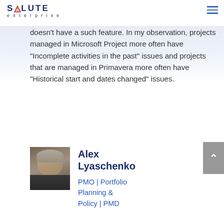SALUTE enterprise
"Data Date" feature to automatically push activities with dates in the past to the Data Date. Microsoft Project doesn't have a such feature. In my observation, projects managed in Microsoft Project more often have “Incomplete activities in the past” issues and projects that are managed in Primavera more often have “Historical start and dates changed” issues.
[Figure (photo): Professional headshot of Alex Lyaschenko, a middle-aged man with grey-blond short hair wearing a suit and tie]
Alex Lyaschenko
PMO | Portfolio Planning & Policy | PMD